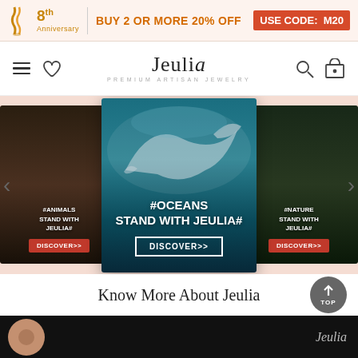8th Anniversary | BUY 2 OR MORE 20% OFF | USE CODE: M20
[Figure (screenshot): Jeulia jewelry brand logo and navigation bar with hamburger menu, heart, search, and cart icons]
[Figure (screenshot): Carousel showing three promotional cards: #ANIMALS STAND WITH JEULIA# (left), #OCEANS STAND WITH JEULIA# (center, active, showing dolphin underwater), #NATURE STAND WITH JEULIA# (right), each with a DISCOVER>> button]
Know More About Jeulia
[Figure (screenshot): Video preview thumbnail with dark background showing Jeulia logo]
[Figure (screenshot): Add to Cart bottom bar with heart wishlist icon and orange Add to Cart button with cart icon]